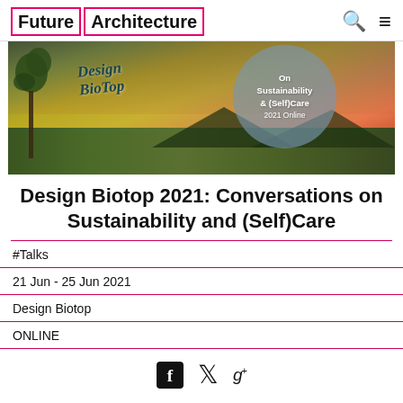Future Architecture
[Figure (photo): Landscape photo with 'Design Biotop' handwritten text overlay and a semi-transparent blue circle with text 'On Sustainability & (Self)Care 2021 Online']
Design Biotop 2021: Conversations on Sustainability and (Self)Care
#Talks
21 Jun - 25 Jun 2021
Design Biotop
ONLINE
[Figure (other): Social media sharing icons: Facebook, Twitter, Google+]